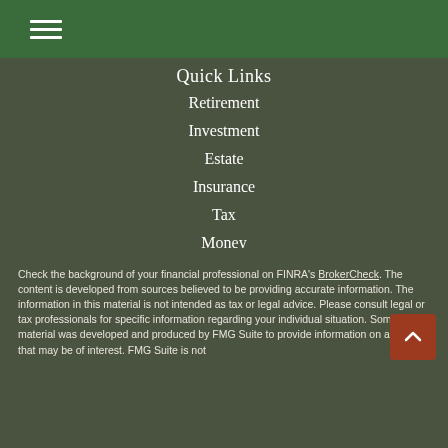☰ (hamburger menu)
Quick Links
Retirement
Investment
Estate
Insurance
Tax
Money
Lifestyle
All Articles
All Videos
All Calculators
All Presentations
Check the background of your financial professional on FINRA's BrokerCheck. The content is developed from sources believed to be providing accurate information. The information in this material is not intended as tax or legal advice. Please consult legal or tax professionals for specific information regarding your individual situation. Some of this material was developed and produced by FMG Suite to provide information on a topic that may be of interest. FMG Suite is not